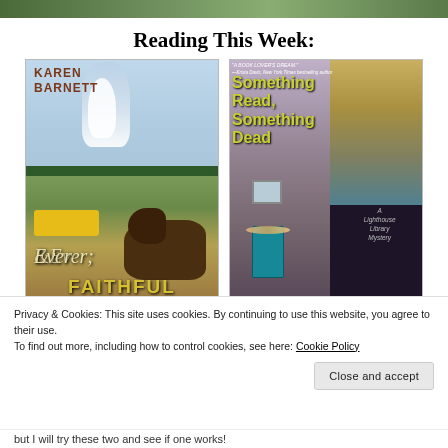[Figure (photo): Top strip image cropped — appears to be a green/nature scene at the very top of the page]
Reading This Week:
[Figure (photo): Book cover: Ever Faithful by Karen Barnett — features a yellowstone geyser, bison, yellow bus, retro national park poster style]
[Figure (photo): Book cover: Something Read, Something Dead — A Lighthouse Library Mystery, with a lighthouse, teal door, flower decorations, yellow-green title text on dark background. Quote: 'A Book Lover's Dream.' —Krista Davis, New York Times bestselling author]
Privacy & Cookies: This site uses cookies. By continuing to use this website, you agree to their use.
To find out more, including how to control cookies, see here: Cookie Policy
Close and accept
but I will try these two and see if one works!